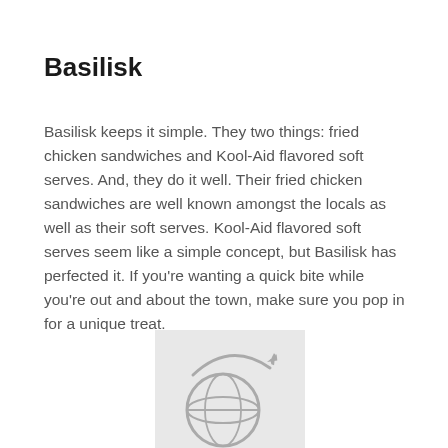Basilisk
Basilisk keeps it simple. They two things: fried chicken sandwiches and Kool-Aid flavored soft serves. And, they do it well. Their fried chicken sandwiches are well known amongst the locals as well as their soft serves. Kool-Aid flavored soft serves seem like a simple concept, but Basilisk has perfected it. If you're wanting a quick bite while you're out and about the town, make sure you pop in for a unique treat.
[Figure (illustration): A gray globe icon with a curved arrow and an airplane silhouette orbiting around it, on a light gray background rectangle.]